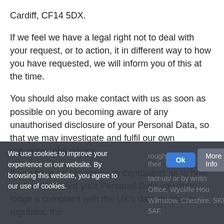Cardiff, CF14 5DX.
If we feel we have a legal right not to deal with your request, or to action, it in different way to how you have requested, we will inform you of this at the time.
You should also make contact with us as soon as possible on you becoming aware of any unauthorised disclosure of your Personal Data, so that we may investigate and fulfil our own regulatory obligations.
If you have any concerns or complaints as to how we have handled your Personal Data you may lodge a complaint with the UK's data protection regulator, the
We use cookies to improve your experience on our website. By browsing this website, you agree to our use of cookies.